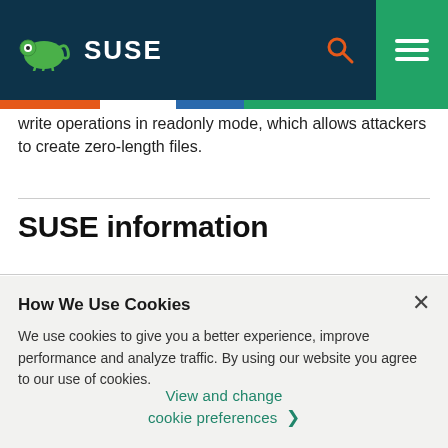SUSE
write operations in readonly mode, which allows attackers to create zero-length files.
SUSE information
How We Use Cookies
We use cookies to give you a better experience, improve performance and analyze traffic. By using our website you agree to our use of cookies.
View and change cookie preferences >